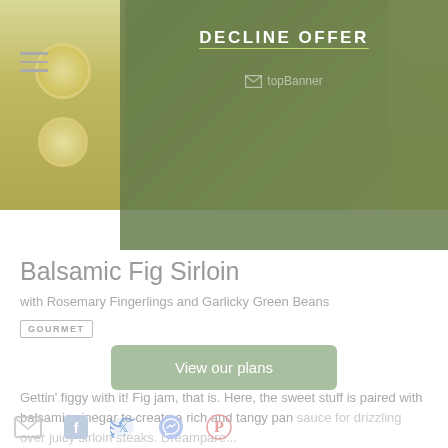[Figure (photo): Food photo of a green vegetable dish (green beans, fingerling potatoes) in a pan, viewed from above, muted warm tones]
DECLINE OFFER
[Figure (other): topBanner placeholder graphic in green overlay]
Balsamic Fig Sirloin
with Rosemary Fingerlings and Garlicky Green Beans
GOURMET
View our plans
Gettin' figgy with it! Fig jam, that is. Here, the sweet stuff is paired with balsamic vinegar to create a rich and tangy pan sauce for drizzling over juicy sirloin steaks. Dreampare...
[Figure (infographic): Social sharing icons: email, Facebook, Twitter, Messenger, Pinterest]